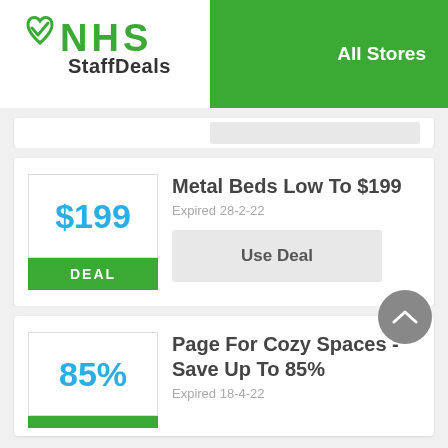[Figure (logo): NHS StaffDeals logo with green heart/checkmark icon and green text]
All Stores
$199
DEAL
Metal Beds Low To $199
Expired 28-2-22
Use Deal
85%
Page For Cozy Spaces - Save Up To 85%
Expired 18-4-22